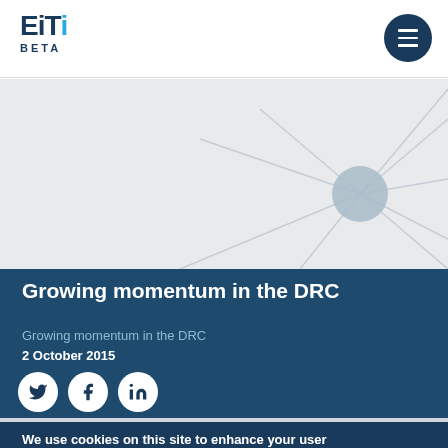EITI BETA
[Figure (illustration): Abstract network diagram with lines converging to a central node circle, on light grey background]
Growing momentum in the DRC
Growing momentum in the DRC
2 October 2015
[Figure (infographic): Social share icons: Twitter, Facebook, LinkedIn]
We use cookies on this site to enhance your user experience